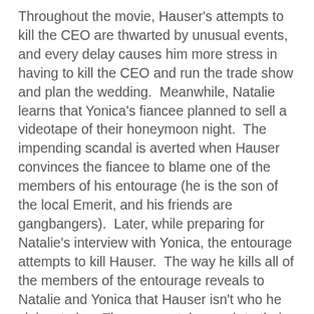Throughout the movie, Hauser's attempts to kill the CEO are thwarted by unusual events, and every delay causes him more stress in having to kill the CEO and run the trade show and plan the wedding.  Meanwhile, Natalie learns that Yonica's fiancee planned to sell a videotape of their honeymoon night.  The impending scandal is averted when Hauser convinces the fiancee to blame one of the members of his entourage (he is the son of the local Emerit, and his friends are gangbangers).  Later, while preparing for Natalie's interview with Yonica, the entourage attempts to kill Hauser.  The way he kills all of the members of the entourage reveals to Natalie and Yonica that Hauser isn't who he claims to be.  The women take a cab to their respective hotels, but Natalie is kidnapped by the camera crew hired to